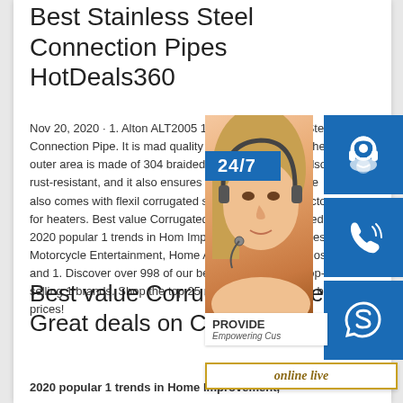Best Stainless Steel Connection Pipes HotDeals360
Nov 20, 2020 · 1. Alton ALT2005 18-Inch, 3 Stainless Steel Connection Pipe. It is made quality stainless steel, and the outer area is made of 304 braided stainless steel. Th also rust-resistant, and it also ensures qu longevity. The pipe also comes with flexil corrugated stainless steel connectors for heaters. Best value Corrugated Hose Gre Corrugated 2020 popular 1 trends in Hom Improvement, Automobiles & Motorcycle Entertainment, Home Appliances with Co Hose and 1. Discover over 998 of our bes of 1 on AliE with top-selling 1 brands. Shop the top 25 most popular 1 at the best prices!
[Figure (photo): Customer service overlay with woman wearing headset, 24/7 label, contact buttons (headset, phone, Skype), PROVIDE Empowering Customers text, and online live button]
Best value Corrugated Hose Great deals on Corrugated
2020 popular 1 trends in Home Improvement, Automobiles & Motorcycles,